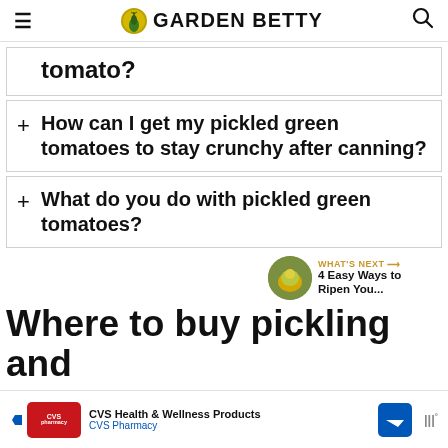GARDEN BETTY
tomato?
How can I get my pickled green tomatoes to stay crunchy after canning?
What do you do with pickled green tomatoes?
Where to buy pickling and ca...
CVS Health & Wellness Products CVS Pharmacy